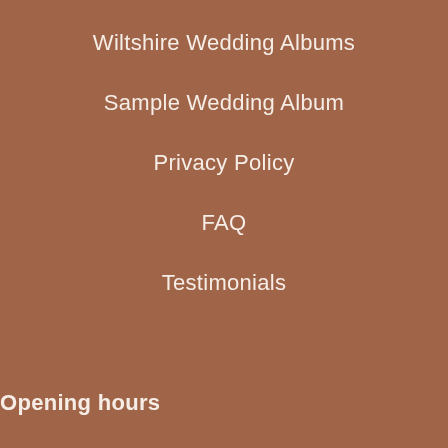Wiltshire Wedding Albums
Sample Wedding Album
Privacy Policy
FAQ
Testimonials
Opening hours